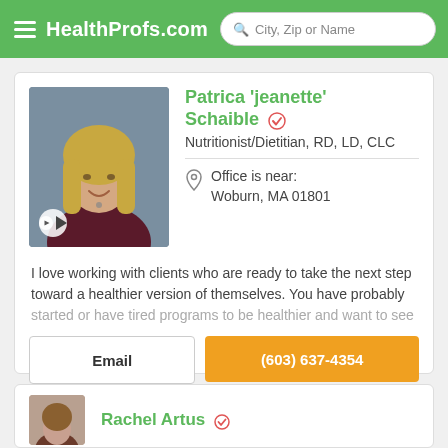HealthProfs.com | City, Zip or Name
Patrica 'jeanette' Schaible
Nutritionist/Dietitian, RD, LD, CLC
Office is near: Woburn, MA 01801
I love working with clients who are ready to take the next step toward a healthier version of themselves. You have probably started or have tired programs to be healthier and want to see
Email
(603) 637-4354
Rachel Artus